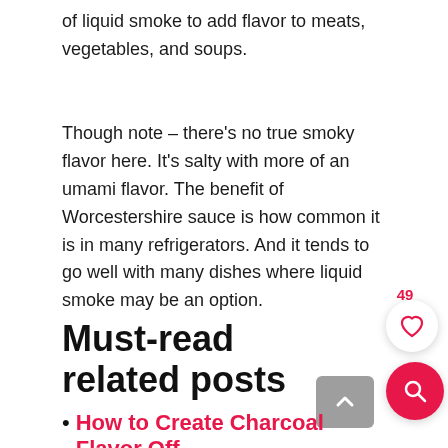of liquid smoke to add flavor to meats, vegetables, and soups.
Though note – there's no true smoky flavor here. It's salty with more of an umami flavor. The benefit of Worcestershire sauce is how common it is in many refrigerators. And it tends to go well with many dishes where liquid smoke may be an option.
Must-read related posts
How to Create Charcoal Flavor Off